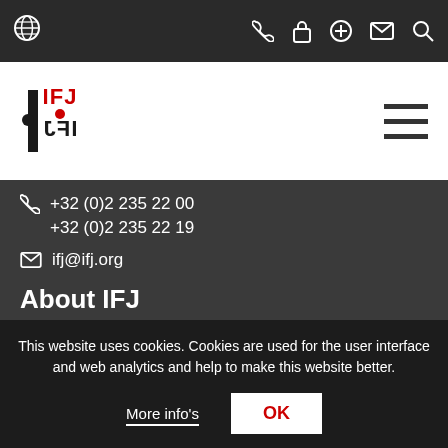Navigation bar with globe icon and icons: phone, lock, plus, email, search
[Figure (logo): IFJ / FIJ logo: stacked text logo in black and red with globe motif]
+32 (0)2 235 22 00
+32 (0)2 235 22 19
ifj@ifj.org
About IFJ
The International Federation of Journalists is the global voice of journalists.
Founded in 1926, it is the world's largest organisation of
This website uses cookies. Cookies are used for the user interface and web analytics and help to make this website better.